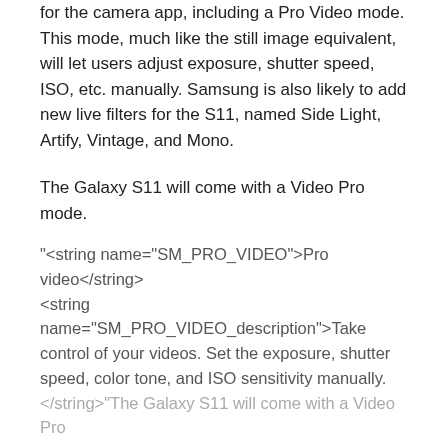for the camera app, including a Pro Video mode. This mode, much like the still image equivalent, will let users adjust exposure, shutter speed, ISO, etc. manually. Samsung is also likely to add new live filters for the S11, named Side Light, Artify, Vintage, and Mono.
The Galaxy S11 will come with a Video Pro mode.
"<string name="SM_PRO_VIDEO">Pro video</string> <string name="SM_PRO_VIDEO_description">Take control of your videos. Set the exposure, shutter speed, color tone, and ISO sensitivity manually. </string>"The Galaxy S11 will come with a Video Pro
See more
Samsung is likely to debut the S11 just before the